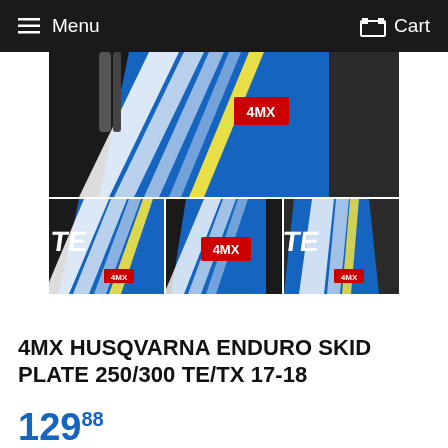Menu   Cart
[Figure (photo): Product photos of 4MX Husqvarna Enduro Skid Plate 250/300 TE/TX 17-18. Main large photo showing motorcycle part with blue, white and yellow 4MX graphic design. Three smaller thumbnail photos below showing different angles.]
4MX HUSQVARNA ENDURO SKID PLATE 250/300 TE/TX 17-18
129.88